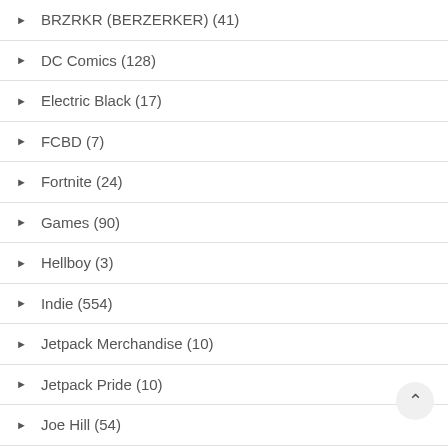BRZRKR (BERZERKER) (41)
DC Comics (128)
Electric Black (17)
FCBD (7)
Fortnite (24)
Games (90)
Hellboy (3)
Indie (554)
Jetpack Merchandise (10)
Jetpack Pride (10)
Joe Hill (54)
Magic The Gathering (152)
Crimson Vow (15)